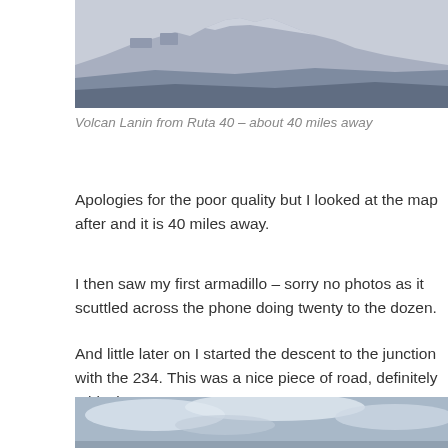[Figure (photo): Photo of Volcan Lanin seen from Ruta 40, showing snow-capped mountain peaks with layered blue-grey hills in foreground under overcast sky]
Volcan Lanin from Ruta 40 – about 40 miles away
Apologies for the poor quality but I looked at the map after and it is 40 miles away.
I then saw my first armadillo – sorry no photos as it scuttled across the phone doing twenty to the dozen.
And little later on I started the descent to the junction with the 234. This was a nice piece of road, definitely a bit sinuoso:
[Figure (photo): Partial photo showing winding road with sky and clouds visible, cropped at bottom of page]